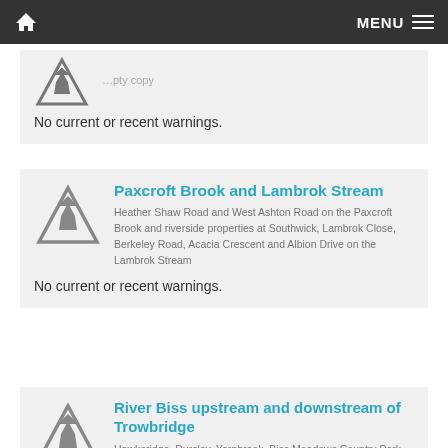MENU
No current or recent warnings.
Paxcroft Brook and Lambrok Stream
Heather Shaw Road and West Ashton Road on the Paxcroft Brook and riverside properties at Southwick, Lambrok Close, Berkeley Road, Acacia Crescent and Albion Drive on the Lambrok Stream
No current or recent warnings.
River Biss upstream and downstream of Trowbridge
Hawkeridge, Dursley, Yarnbrook, Biss Meadows Country Park and downstream of Trowbridge at Trowle Bridge and Bradford Road
No current or recent warnings.